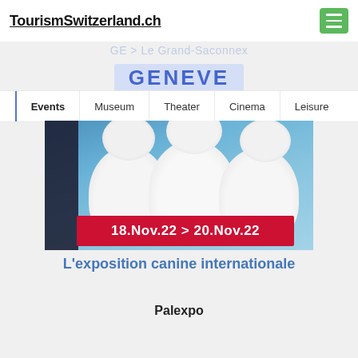TourismSwitzerland.ch
GENEVE
Events   Museum   Theater   Cinema   Leisure
[Figure (photo): Three white fluffy dogs on leashes held by a person in black stockings against a blue sky background]
18.Nov.22 > 20.Nov.22
L'exposition canine internationale
Palexpo